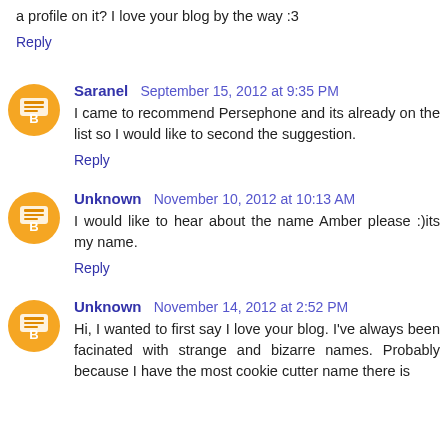a profile on it? I love your blog by the way :3
Reply
Saranel  September 15, 2012 at 9:35 PM
I came to recommend Persephone and its already on the list so I would like to second the suggestion.
Reply
Unknown  November 10, 2012 at 10:13 AM
I would like to hear about the name Amber please :)its my name.
Reply
Unknown  November 14, 2012 at 2:52 PM
Hi, I wanted to first say I love your blog. I've always been facinated with strange and bizarre names. Probably because I have the most cookie cutter name there is